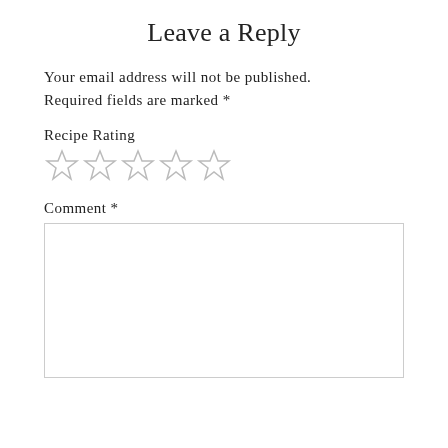Leave a Reply
Your email address will not be published. Required fields are marked *
Recipe Rating
[Figure (other): Five empty star rating icons in a row]
Comment *
[Figure (other): Empty comment text area input box]